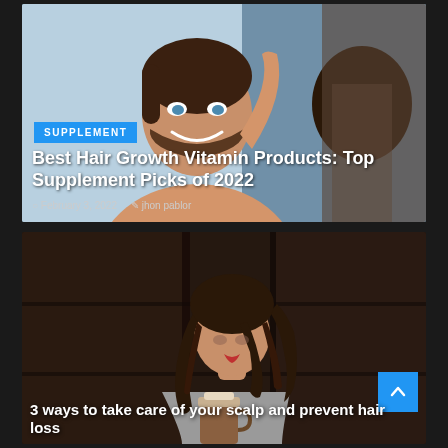[Figure (photo): Smiling bearded man looking in mirror touching his hair, with blue background]
SUPPLEMENT
Best Hair Growth Vitamin Products: Top Supplement Picks of 2022
February 3, 2022   jhon pablor
[Figure (photo): Young woman with long dark hair holding a coffee cup, looking down at her hair]
3 ways to take care of your scalp and prevent hair loss